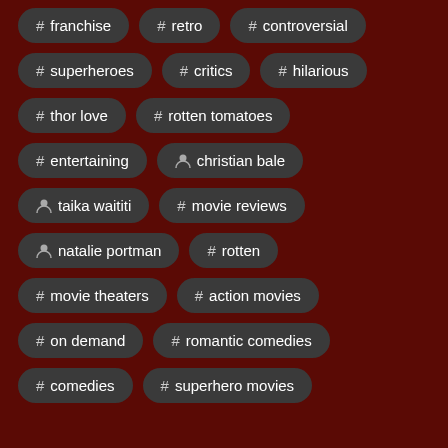# franchise
# retro
# controversial
# superheroes
# critics
# hilarious
# thor love
# rotten tomatoes
# entertaining
person christian bale
person taika waititi
# movie reviews
person natalie portman
# rotten
# movie theaters
# action movies
# on demand
# romantic comedies
# comedies
# superhero movies